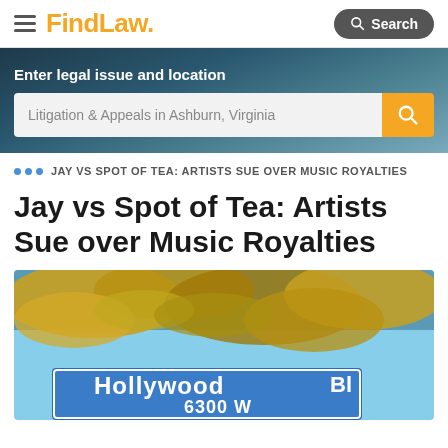FindLaw. Search
[Figure (screenshot): FindLaw website header with hamburger menu, orange FindLaw logo, and Search button]
Enter legal issue and location
Litigation & Appeals in Ashburn, Virginia
JAY VS SPOT OF TEA: ARTISTS SUE OVER MUSIC ROYALTIES
Jay vs Spot of Tea: Artists Sue over Music Royalties
[Figure (photo): Hollywood Boulevard street sign showing 6300 W with palm trees in background]